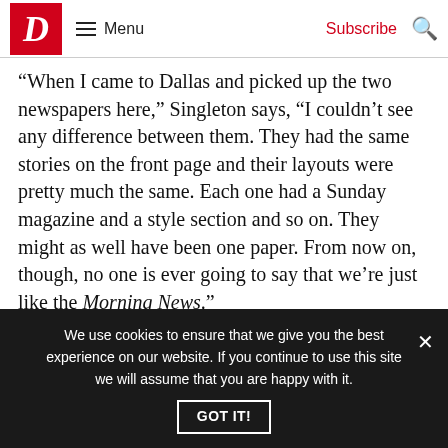D Menu Subscribe
“When I came to Dallas and picked up the two newspapers here,” Singleton says, “I couldn’t see any difference between them. They had the same stories on the front page and their layouts were pretty much the same. Each one had a Sunday magazine and a style section and so on. They might as well have been one paper. From now on, though, no one is ever going to say that we’re just like the Morning News.”
Singleton often sounds as though he hopes to be
We use cookies to ensure that we give you the best experience on our website. If you continue to use this site we will assume that you are happy with it.
GOT IT!